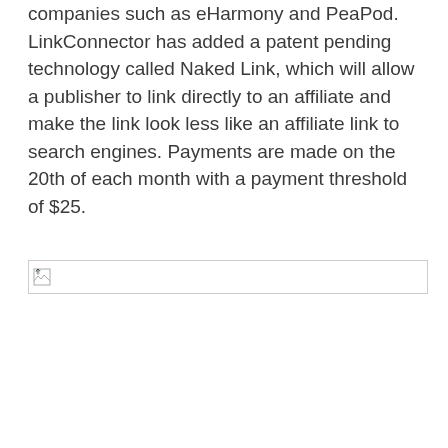companies such as eHarmony and PeaPod. LinkConnector has added a patent pending technology called Naked Link, which will allow a publisher to link directly to an affiliate and make the link look less like an affiliate link to search engines. Payments are made on the 20th of each month with a payment threshold of $25.
[Figure (other): Broken/unloaded image placeholder with a small broken image icon and a horizontal line separator]